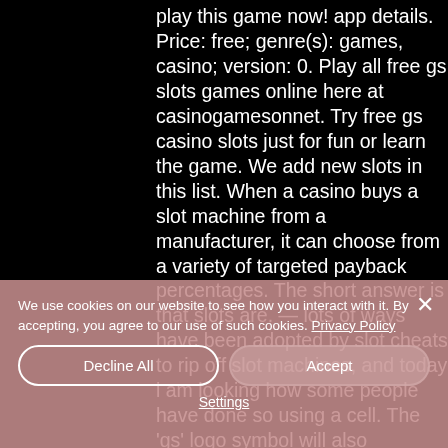play this game now! app details. Price: free; genre(s): games, casino; version: 0. Play all free gs slots games online here at casinogamesonnet. Try free gs casino slots just for fun or learn the game. We add new slots in this list. When a casino buys a slot machine from a manufacturer, it can choose from a variety of targeted payback percentages. The short answer is that slots are. — lots of ways have been adopted by slot cheats to rip off slot machines, and today i am looking how some people have done so using a cell. The 'gs' logo symbol will also
We use cookies on our website to see how you interact with it. By accepting, you agree to our use of such cookies. Privacy Policy
Decline All
Accept
Settings